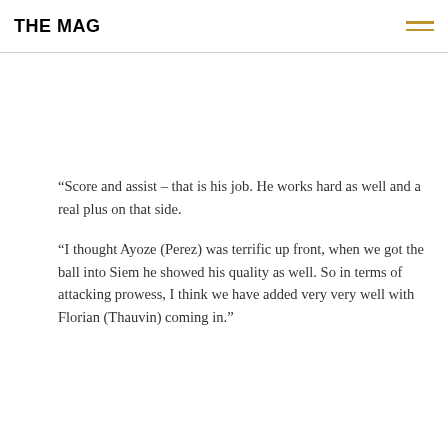THE MAG
"Score and assist – that is his job. He works hard as well and a real plus on that side.
"I thought Ayoze (Perez) was terrific up front, when we got the ball into Siem he showed his quality as well. So in terms of attacking prowess, I think we have added very very well with Florian (Thauvin) coming in."